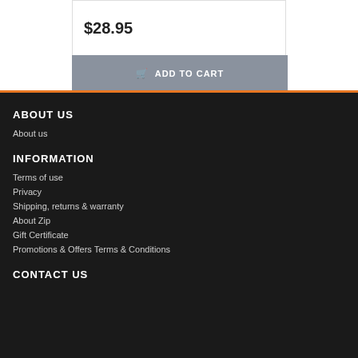$28.95
ADD TO CART
ABOUT US
About us
INFORMATION
Terms of use
Privacy
Shipping, returns & warranty
About Zip
Gift Certificate
Promotions & Offers Terms & Conditions
CONTACT US